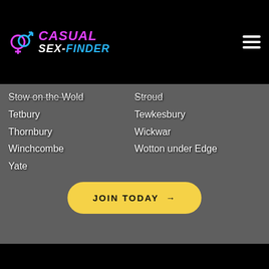[Figure (logo): Casual Sex-Finder logo with gender symbols icon, purple CASUAL and white/blue SEX-FINDER text on black background]
Stow on the Wold
Tetbury
Thornbury
Winchcombe
Yate
Stroud
Tewkesbury
Wickwar
Wotton under Edge
JOIN TODAY →